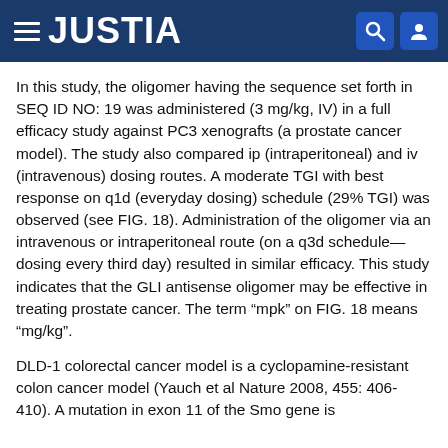JUSTIA
In this study, the oligomer having the sequence set forth in SEQ ID NO: 19 was administered (3 mg/kg, IV) in a full efficacy study against PC3 xenografts (a prostate cancer model). The study also compared ip (intraperitoneal) and iv (intravenous) dosing routes. A moderate TGI with best response on q1d (everyday dosing) schedule (29% TGI) was observed (see FIG. 18). Administration of the oligomer via an intravenous or intraperitoneal route (on a q3d schedule—dosing every third day) resulted in similar efficacy. This study indicates that the GLI antisense oligomer may be effective in treating prostate cancer. The term “mpk” on FIG. 18 means “mg/kg”.
DLD-1 colorectal cancer model is a cyclopamine-resistant colon cancer model (Yauch et al Nature 2008, 455: 406-410). A mutation in exon 11 of the Smo gene is